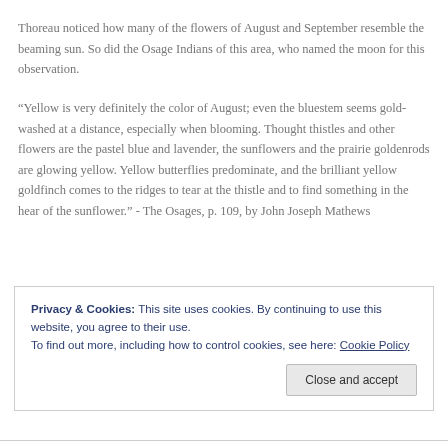Thoreau noticed how many of the flowers of August and September resemble the beaming sun. So did the Osage Indians of this area, who named the moon for this observation.
“Yellow is very definitely the color of August; even the bluestem seems gold-washed at a distance, especially when blooming. Thought thistles and other flowers are the pastel blue and lavender, the sunflowers and the prairie goldenrods are glowing yellow. Yellow butterflies predominate, and the brilliant yellow goldfinch comes to the ridges to tear at the thistle and to find something in the hear of the sunflower.” - The Osages, p. 109, by John Joseph Mathews
Privacy & Cookies: This site uses cookies. By continuing to use this website, you agree to their use.
To find out more, including how to control cookies, see here: Cookie Policy
Close and accept